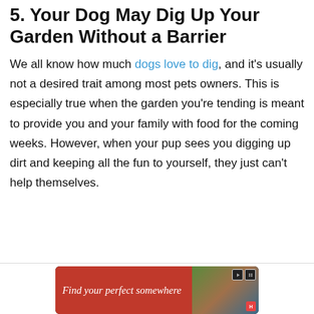5. Your Dog May Dig Up Your Garden Without a Barrier
We all know how much dogs love to dig, and it's usually not a desired trait among most pets owners. This is especially true when the garden you're tending is meant to provide you and your family with food for the coming weeks. However, when your pup sees you digging up dirt and keeping all the fun to yourself, they just can't help themselves.
[Figure (other): Advertisement banner: red background with text 'Find your perfect somewhere' in italic serif font, with a thumbnail nature/travel image on the right side.]